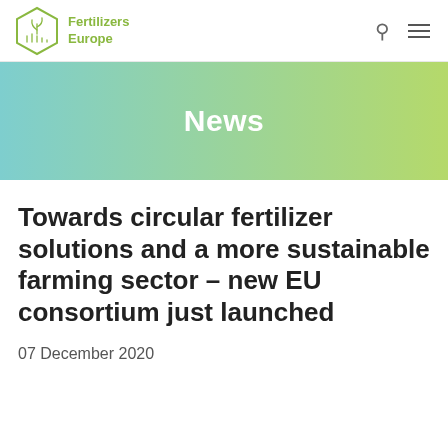Fertilizers Europe
News
Towards circular fertilizer solutions and a more sustainable farming sector – new EU consortium just launched
07 December 2020